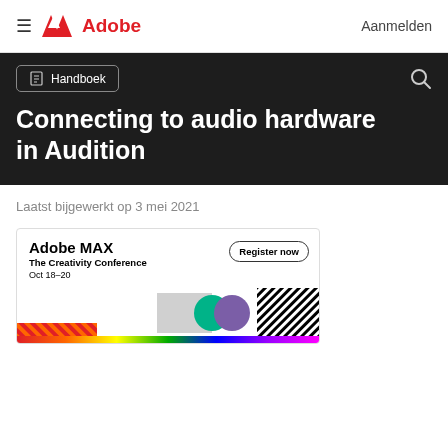≡  Adobe  Aanmelden
[Figure (screenshot): Dark navigation banner with Handboek button and search icon]
Connecting to audio hardware in Audition
Laatst bijgewerkt op 3 mei 2021
[Figure (illustration): Adobe MAX The Creativity Conference Oct 18–20 advertisement banner with Register now button and colorful graphic elements]